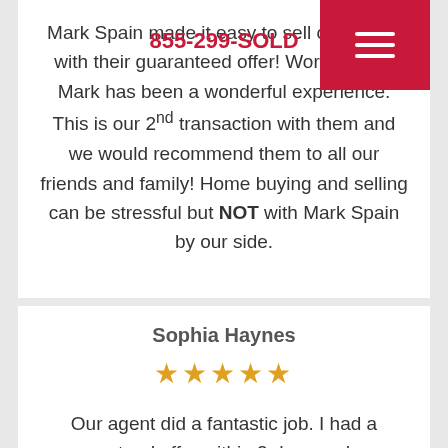Mark Spain made it easy to sell our house with their guaranteed offer! Working with Mark has been a wonderful experience. This is our 2nd transaction with them and we would recommend them to all our friends and family! Home buying and selling can be stressful but NOT with Mark Spain by our side.
855-299-SOLD
Sophia Haynes
★★★★★
Our agent did a fantastic job. I had a guaranteed offer within 2 days and was able to close in less than 30. He took care of all of the details and the